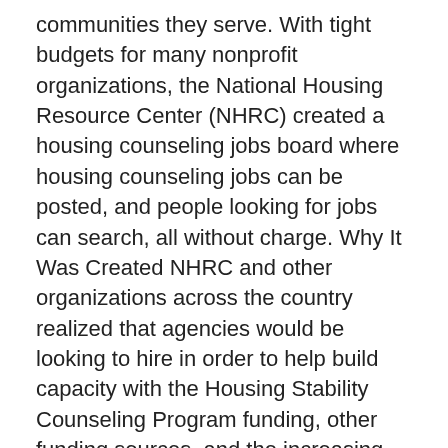communities they serve.  With tight budgets for many nonprofit organizations, the National Housing Resource Center (NHRC) created a housing counseling jobs board where housing counseling jobs can be posted, and people looking for jobs can search, all without charge.  Why It Was Created NHRC and other organizations across the country realized that agencies would be looking to hire in order to help build capacity with the Housing Stability Counseling Program funding, other funding sources, and the increasing demand for housing counseling services. Since its inception, The National Housing Resource Center (NHRC) has been at the forefront of the housing counseling community by organizing nonprofit housing counseling agencies into a unified voice throughout the United States.  We are also dedicated to organizing nonprofit housing counseling agencies to advocate for and on behalf of communities of color, the elderly, low and moderate-income people, and underserved populations.  NHRC continuously works to advance public policies, programs, and educational...